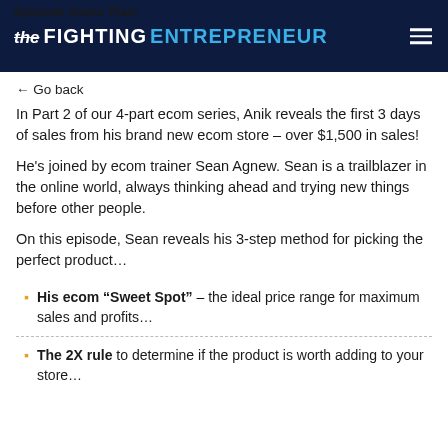Episode Game Plan: The Fighting Entrepreneur
← Go back
In Part 2 of our 4-part ecom series, Anik reveals the first 3 days of sales from his brand new ecom store – over $1,500 in sales!
He's joined by ecom trainer Sean Agnew. Sean is a trailblazer in the online world, always thinking ahead and trying new things before other people.
On this episode, Sean reveals his 3-step method for picking the perfect product…
His ecom "Sweet Spot" – the ideal price range for maximum sales and profits…
The 2X rule to determine if the product is worth adding to your store…